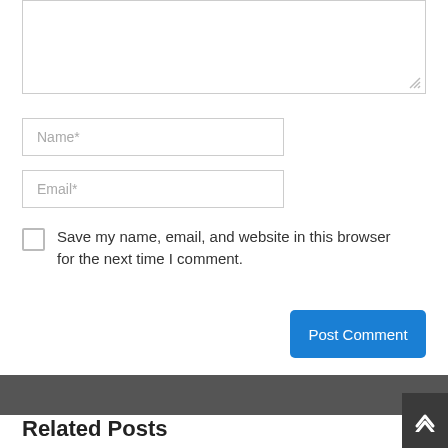[Figure (screenshot): Textarea input box (comment field) with resize handle at bottom-right]
[Figure (screenshot): Text input field with placeholder 'Name*']
[Figure (screenshot): Text input field with placeholder 'Email*']
Save my name, email, and website in this browser for the next time I comment.
[Figure (screenshot): Blue 'Post Comment' button]
[Figure (screenshot): Dark gray footer bar with scroll-to-top button (chevron up icon) at bottom right]
Related Posts